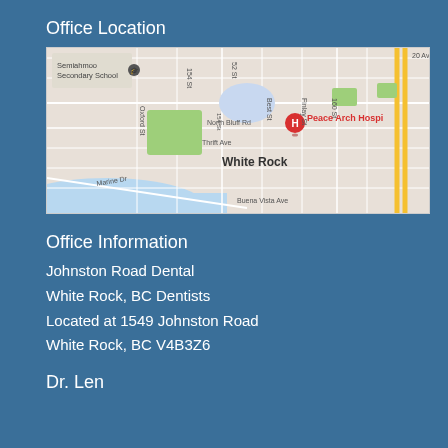Office Location
[Figure (map): Google Maps view of White Rock, BC area showing Peace Arch Hospital marker, streets including North Bluff Rd, Thrift Ave, Marine Dr, Oxford St, Best St, Finlay St, 154 St, 160 St, 52 St, Buena Vista Ave, and 20 Ave; also showing Semiahmoo Secondary School]
Office Information
Johnston Road Dental
White Rock, BC Dentists
Located at 1549 Johnston Road
White Rock, BC V4B3Z6
Dr. Len